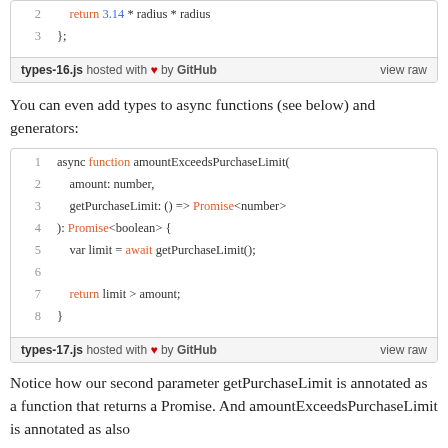[Figure (screenshot): Code snippet (types-16.js) showing line 2: return 3.14 * radius * radius and line 3: };  with GitHub footer]
You can even add types to async functions (see below) and generators:
[Figure (screenshot): Code snippet (types-17.js) showing async function amountExceedsPurchaseLimit with TypeScript type annotations, lines 1-8, with GitHub footer]
Notice how our second parameter getPurchaseLimit is annotated as a function that returns a Promise. And amountExceedsPurchaseLimit is annotated as also